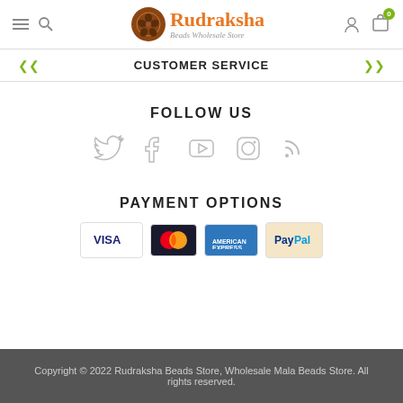Rudraksha Beads Wholesale Store
CUSTOMER SERVICE
FOLLOW US
[Figure (illustration): Social media icons: Twitter, Facebook, YouTube, Instagram, RSS feed]
PAYMENT OPTIONS
[Figure (illustration): Payment method icons: VISA, Mastercard, American Express, PayPal]
Copyright © 2022 Rudraksha Beads Store, Wholesale Mala Beads Store. All rights reserved.